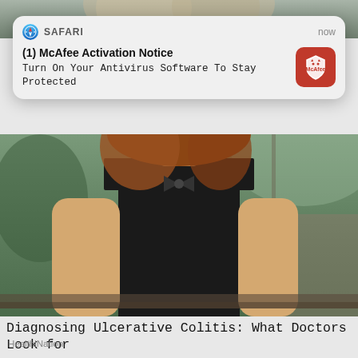[Figure (screenshot): Top portion of a photo showing a woman, cropped at top of page]
[Figure (screenshot): iOS/Safari push notification from McAfee: '(1) McAfee Activation Notice - Turn On Your Antivirus Software To Stay Protected', timestamped 'now', with McAfee red shield logo icon]
[Figure (photo): Photo of a young woman with curly hair wearing a black sleeveless top, sitting on a bench outdoors]
Diagnosing Ulcerative Colitis: What Doctors Look for
HealthiNation
[Figure (photo): Bottom portion of another article photo, partially visible, showing a person with dark hair]